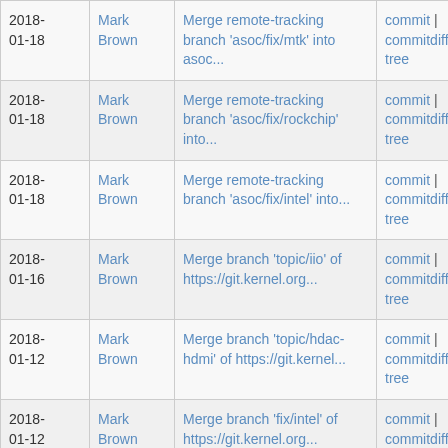| Date | Author | Commit message | Links |
| --- | --- | --- | --- |
| 2018-01-18 | Mark Brown | Merge remote-tracking branch 'asoc/fix/mtk' into asoc... | commit | commitdiff | tree |
| 2018-01-18 | Mark Brown | Merge remote-tracking branch 'asoc/fix/rockchip' into... | commit | commitdiff | tree |
| 2018-01-18 | Mark Brown | Merge remote-tracking branch 'asoc/fix/intel' into... | commit | commitdiff | tree |
| 2018-01-16 | Mark Brown | Merge branch 'topic/iio' of https://git.kernel.org... | commit | commitdiff | tree |
| 2018-01-12 | Mark Brown | Merge branch 'topic/hdac-hdmi' of https://git.kernel... | commit | commitdiff | tree |
| 2018-01-12 | Mark Brown | Merge branch 'fix/intel' of https://git.kernel.org... | commit | commitdiff | tree |
| 2018-01-12 | Mark Brown | Merge branch 'acpi-gpio' of git://git.kernel.org/pub... | commit | commitdiff |